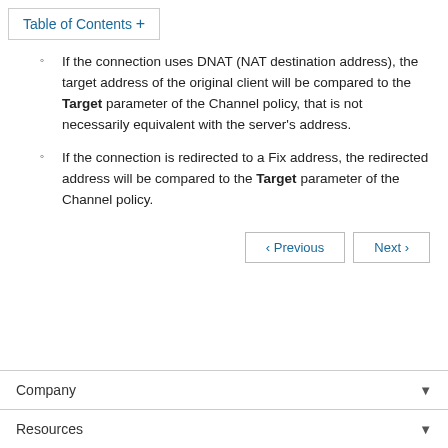Table of Contents +
If the connection uses DNAT (NAT destination address), the target address of the original client will be compared to the Target parameter of the Channel policy, that is not necessarily equivalent with the server's address.
If the connection is redirected to a Fix address, the redirected address will be compared to the Target parameter of the Channel policy.
Company
Resources